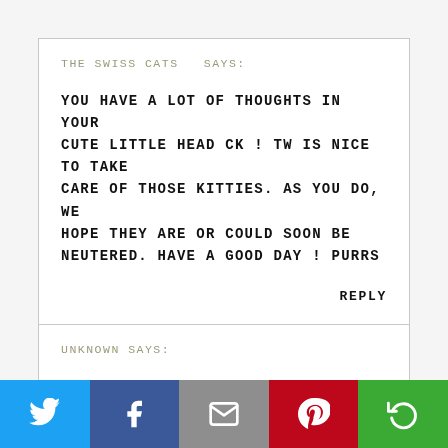THE SWISS CATS  SAYS:
YOU HAVE A LOT OF THOUGHTS IN YOUR CUTE LITTLE HEAD CK ! TW IS NICE TO TAKE CARE OF THOSE KITTIES. AS YOU DO, WE HOPE THEY ARE OR COULD SOON BE NEUTERED. HAVE A GOOD DAY ! PURRS
REPLY
UNKNOWN SAYS:
[Figure (infographic): Social sharing bar with Twitter (blue), Facebook (dark blue), Email (grey), Pinterest (red), and a rotation/share icon (green) buttons]